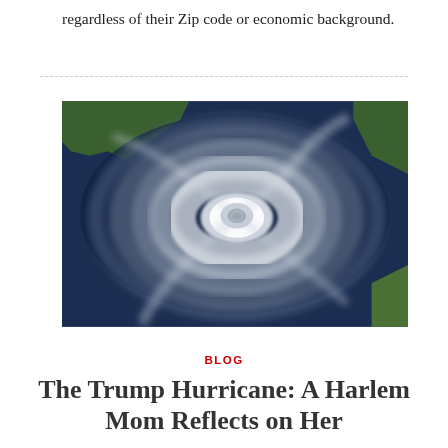regardless of their Zip code or economic background.
[Figure (photo): Satellite aerial view of a large hurricane over the Gulf of Mexico coastline, showing a clearly defined eye and spiral cloud bands.]
BLOG
The Trump Hurricane: A Harlem Mom Reflects on Her